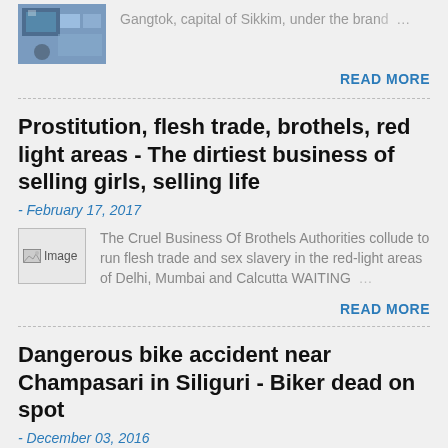[Figure (photo): Small thumbnail image of a person at what appears to be a gaming or electronics setup]
Gangtok, capital of Sikkim, under the brand …
READ MORE
Prostitution, flesh trade, brothels, red light areas - The dirtiest business of selling girls, selling life
- February 17, 2017
[Figure (photo): Broken image placeholder]
The Cruel Business Of Brothels Authorities collude to run flesh trade and sex slavery in the red-light areas of Delhi, Mumbai and Calcutta WAITING …
READ MORE
Dangerous bike accident near Champasari in Siliguri - Biker dead on spot
- December 03, 2016